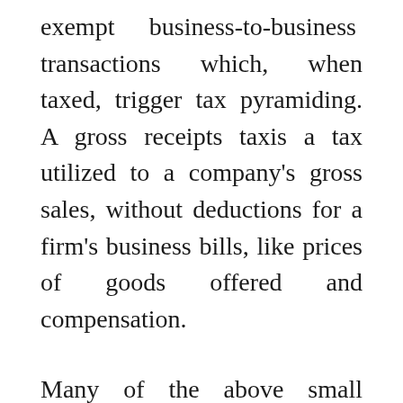exempt business-to-business transactions which, when taxed, trigger tax pyramiding. A gross receipts taxis a tax utilized to a company's gross sales, without deductions for a firm's business bills, like prices of goods offered and compensation.
Many of the above small business ideas require using a pc with an web connection. Dropshipping, digital advertising and translation are all great examples. An exception to the rule is pet sitting if you watch over pets at your house quite than the proprietor's house. Lawn care companies require little greater than some basic